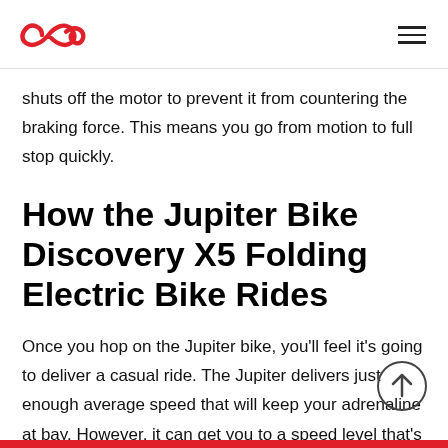Jupiter Bike logo and navigation menu
shuts off the motor to prevent it from countering the braking force. This means you go from motion to full stop quickly.
How the Jupiter Bike Discovery X5 Folding Electric Bike Rides
Once you hop on the Jupiter bike, you'll feel it's going to deliver a casual ride. The Jupiter delivers just enough average speed that will keep your adrenaline at bay. However, it can get you to a speed level that's exciting if you're willing to put in the legwork.